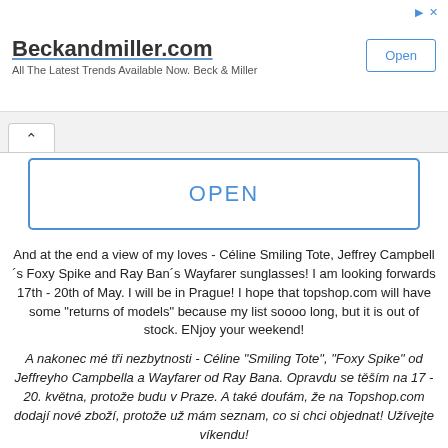[Figure (screenshot): Ad banner for Beckandmiller.com with Open button and ad icons]
OPEN
And at the end a view of my loves - Céline Smiling Tote, Jeffrey Campbell´s Foxy Spike and Ray Ban´s Wayfarer sunglasses! I am looking forwards 17th - 20th of May. I will be in Prague! I hope that topshop.com will have some "returns of models" because my list soooo long, but it is out of stock. ENjoy your weekend!
A nakonec mé tři nezbytnosti - Céline "Smiling Tote", "Foxy Spike" od Jeffreyho Campbella a Wayfarer od Ray Bana. Opravdu se těším na 17 - 20. května, protože budu v Praze. A také doufám, že na Topshop.com dodají nové zboží, protože už mám seznam, co si chci objednat! Užívejte víkendu!